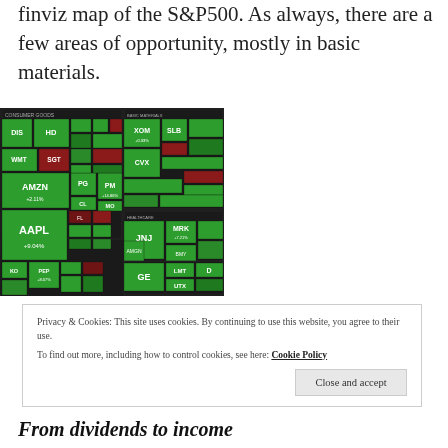finviz map of the S&P500. As always, there are a few areas of opportunity, mostly in basic materials.
[Figure (infographic): Finviz S&P500 treemap heatmap showing stock sectors including Technology, Financial, Consumer Goods, Healthcare, Industrials, Basic Materials, Utilities. Notable stocks shown: GOOGL +4.15%, T, VZ +3.51%, FB +2.96%, IBM +4.12%, CISCO, MSFT +1.67%, WFC +5.33%, BAC +11.49%, V, C, MA, JPM +9.04%, BRK-B +7.38%, DIS, HD, AMZN +2.11%, AAPL +9.04%, PG, PM +14.86%, MO, PEP +8.07%, KO, MCD, PG, MRK +7.21%, JNJ, PFE, AMGN +1.14%, GILD, CELG, XOM +0.33%, CVX, SLB, GE, LMT, UTX, D and many more. Colors indicate green for gains, red for losses.]
Privacy & Cookies: This site uses cookies. By continuing to use this website, you agree to their use.
To find out more, including how to control cookies, see here: Cookie Policy
From dividends to income